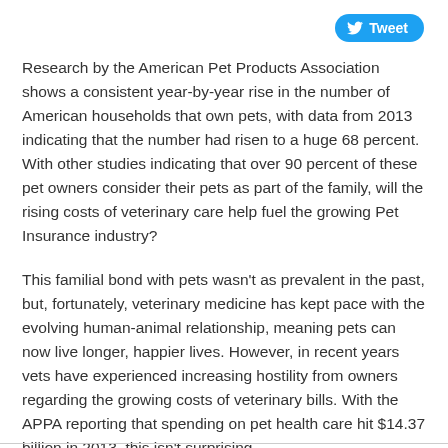[Figure (other): Twitter Tweet button in blue rounded rectangle]
Research by the American Pet Products Association shows a consistent year-by-year rise in the number of American households that own pets, with data from 2013 indicating that the number had risen to a huge 68 percent. With other studies indicating that over 90 percent of these pet owners consider their pets as part of the family, will the rising costs of veterinary care help fuel the growing Pet Insurance industry?
This familial bond with pets wasn't as prevalent in the past, but, fortunately, veterinary medicine has kept pace with the evolving human-animal relationship, meaning pets can now live longer, happier lives. However, in recent years vets have experienced increasing hostility from owners regarding the growing costs of veterinary bills. With the APPA reporting that spending on pet health care hit $14.37 billion in 2013, this isn't surprising.